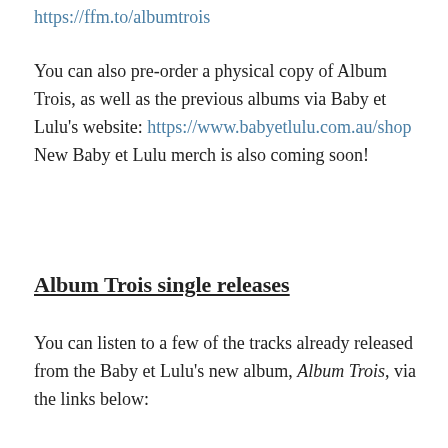https://ffm.to/albumtrois
You can also pre-order a physical copy of Album Trois, as well as the previous albums via Baby et Lulu's website: https://www.babyetlulu.com.au/shop New Baby et Lulu merch is also coming soon!
Album Trois single releases
You can listen to a few of the tracks already released from the Baby et Lulu's new album, Album Trois, via the links below: